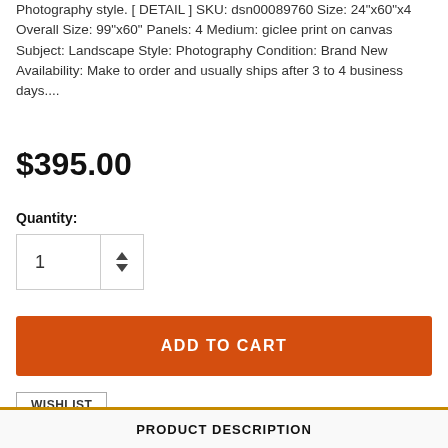Photography style. [ DETAIL ] SKU: dsn00089760 Size: 24"x60"x4 Overall Size: 99"x60" Panels: 4 Medium: giclee print on canvas Subject: Landscape Style: Photography Condition: Brand New Availability: Make to order and usually ships after 3 to 4 business days....
$395.00
Quantity:
ADD TO CART
WISHLIST
To add this product to your wish list you must Sign In or Create an account
PRODUCT DESCRIPTION